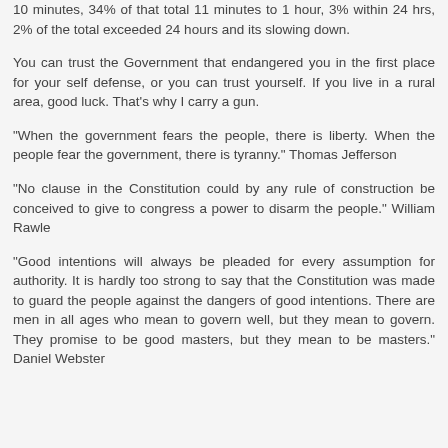10 minutes, 34% of that total 11 minutes to 1 hour, 3% within 24 hrs, 2% of the total exceeded 24 hours and its slowing down.
You can trust the Government that endangered you in the first place for your self defense, or you can trust yourself. If you live in a rural area, good luck. That's why I carry a gun.
"When the government fears the people, there is liberty. When the people fear the government, there is tyranny." Thomas Jefferson
"No clause in the Constitution could by any rule of construction be conceived to give to congress a power to disarm the people." William Rawle
"Good intentions will always be pleaded for every assumption for authority. It is hardly too strong to say that the Constitution was made to guard the people against the dangers of good intentions. There are men in all ages who mean to govern well, but they mean to govern. They promise to be good masters, but they mean to be masters." Daniel Webster